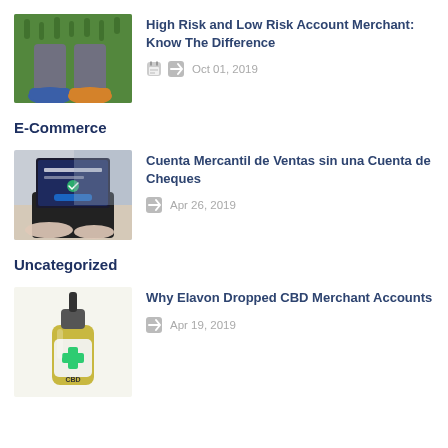[Figure (photo): Overhead view of person's feet standing on green grass, wearing blue Nike sneakers and orange shoes]
High Risk and Low Risk Account Merchant: Know The Difference
Oct 01, 2019
E-Commerce
[Figure (photo): Person typing on a laptop showing a form or login screen]
Cuenta Mercantil de Ventas sin una Cuenta de Cheques
Apr 26, 2019
Uncategorized
[Figure (photo): CBD oil dropper bottle with green cross label]
Why Elavon Dropped CBD Merchant Accounts
Apr 19, 2019